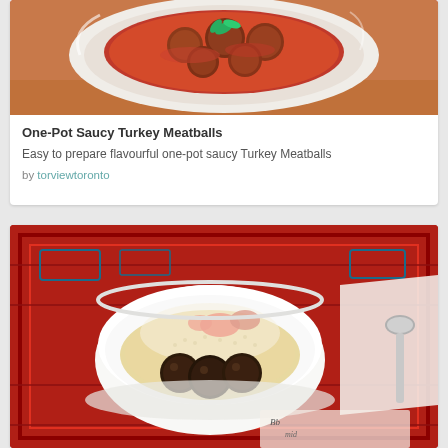[Figure (photo): Bowl of one-pot saucy turkey meatballs in red tomato sauce with basil garnish on a wooden surface]
One-Pot Saucy Turkey Meatballs
Easy to prepare flavourful one-pot saucy Turkey Meatballs
by torviewtoronto
[Figure (photo): Bowl of meatballs with couscous or grain, topped with tomato chunks and grated cheese, served on a red patterned rug with a spoon and decorative napkin]